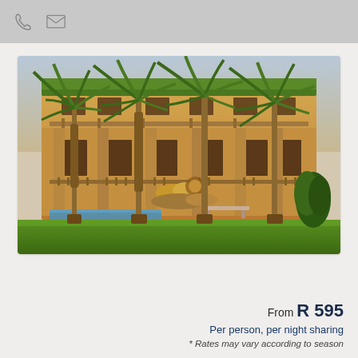[Figure (other): Header bar with phone and email icon buttons on grey background]
[Figure (photo): Exterior photo of a hotel or lodge building with palm trees in front, green lawn, swimming pool, and a two-story sandy-colored stone building with dark wood window frames and balconies. Lion statues or sculptures visible near the building entrance.]
From R 595
Per person, per night sharing
* Rates may vary according to season